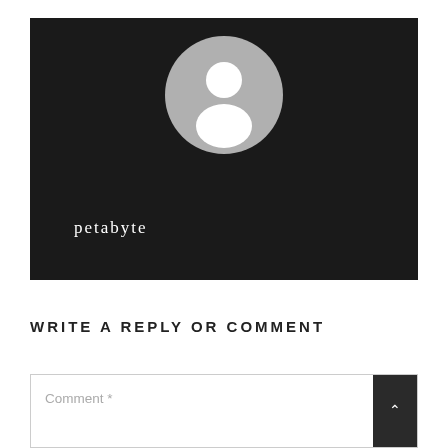[Figure (illustration): Dark background profile card showing a generic gray user avatar icon (circle with silhouette of a person) centered at the top, and the username 'petabyte' in white serif text at the lower left.]
petabyte
WRITE A REPLY OR COMMENT
Comment *